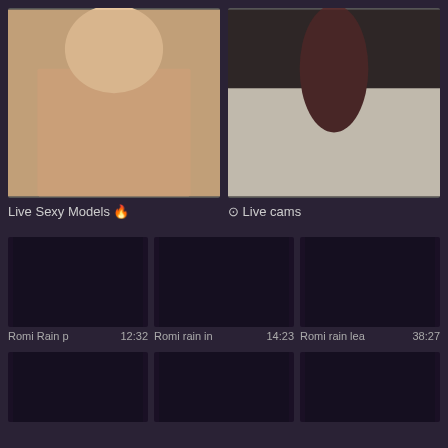[Figure (photo): Thumbnail image on the left side of top banner - adult content placeholder]
[Figure (photo): Thumbnail image on the right side of top banner - adult content placeholder]
Live Sexy Models 🔥
⊙ Live cams
[Figure (screenshot): Dark video thumbnail 1 - Romi Rain]
[Figure (screenshot): Dark video thumbnail 2 - Romi rain]
[Figure (screenshot): Dark video thumbnail 3 - Romi rain]
Romi Rain p
12:32
Romi rain in
14:23
Romi rain lea
38:27
[Figure (screenshot): Dark video thumbnail 4]
[Figure (screenshot): Dark video thumbnail 5]
[Figure (screenshot): Dark video thumbnail 6]